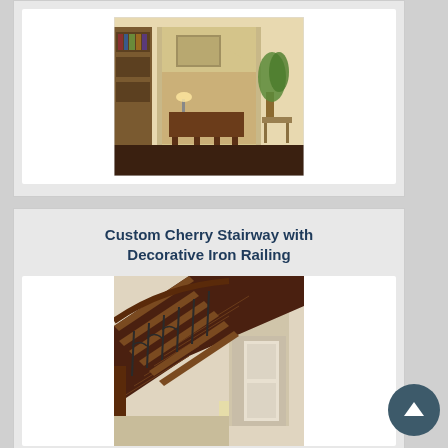[Figure (photo): Interior room photo showing an arched doorway, desk with lamp, painting on wall, bookcase, plant, and elegant furniture on dark wood flooring]
Custom Cherry Stairway with Decorative Iron Railing
[Figure (photo): Custom cherry wood stairway with decorative iron railing balusters, carpeted landing visible at bottom, arched doorway in background]